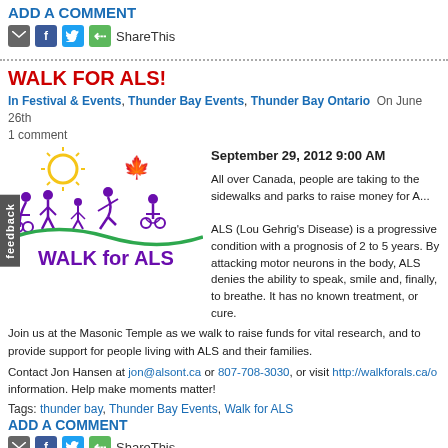ADD A COMMENT
[Figure (infographic): Social share icons: email, Facebook, Twitter, ShareThis green icon with ShareThis text]
WALK FOR ALS!
In Festival & Events, Thunder Bay Events, Thunder Bay Ontario  On June 26th  1 comment
[Figure (logo): Walk for ALS logo with cartoon figures walking, running, and in wheelchair under a sun, with green maple leaf, and text 'WALK for ALS' in purple]
September 29, 2012 9:00 AM

All over Canada, people are taking to the sidewalks and parks to raise money for ALS.

ALS (Lou Gehrig's Disease) is a progressive condition with a prognosis of 2 to 5 years. By attacking motor neurons in the body, ALS denies the ability to speak, smile and, finally, to breathe. It has no known treatment, or cure.
Join us at the Masonic Temple as we walk to raise funds for vital research, and to provide support for people living with ALS and their families.
Contact Jon Hansen at jon@alsont.ca or 807-708-3030, or visit http://walkforals.ca/o information. Help make moments matter!
Tags: thunder bay, Thunder Bay Events, Walk for ALS
ADD A COMMENT
[Figure (infographic): Social share icons bottom: email, Facebook, Twitter, ShareThis green icon with ShareThis text]